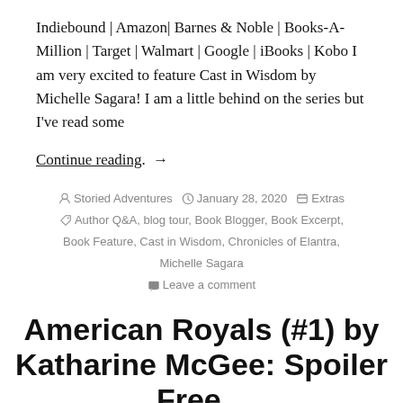Indiebound | Amazon| Barnes & Noble | Books-A-Million | Target | Walmart | Google | iBooks | Kobo I am very excited to feature Cast in Wisdom by Michelle Sagara! I am a little behind on the series but I've read some
Continue reading. →
Storied Adventures  January 28, 2020  Extras  Author Q&A, blog tour, Book Blogger, Book Excerpt, Book Feature, Cast in Wisdom, Chronicles of Elantra, Michelle Sagara  Leave a comment
American Royals (#1) by Katharine McGee: Spoiler Free...